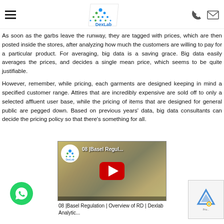DexLab Analytics header with hamburger menu, logo, phone and mail icons
As soon as the garbs leave the runway, they are tagged with prices, which are then posted inside the stores, after analyzing how much the customers are willing to pay for a particular product. For averaging, big data is a saving grace. Big data easily averages the prices, and decides a single mean price, which seems to be quite justifiable.
However, remember, while pricing, each garments are designed keeping in mind a specified customer range. Attires that are incredibly expensive are sold off to only a selected affluent user base, while the pricing of items that are designed for general public are pegged down. Based on previous years' data, big data consultants can decide the pricing policy so that there's something for all.
[Figure (screenshot): YouTube video embed showing '08 |Basel Regul...' with DexLab logo and red play button]
08 |Basel Regulation | Overview of RD | Dexlab Analytic...